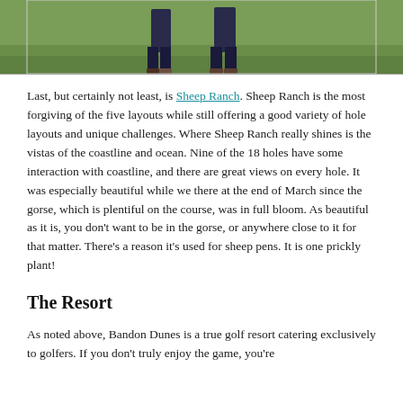[Figure (photo): Partial photo showing two people standing on a grass golf course, cropped so only the lower halves/legs are visible at the top of the page.]
Last, but certainly not least, is Sheep Ranch. Sheep Ranch is the most forgiving of the five layouts while still offering a good variety of hole layouts and unique challenges. Where Sheep Ranch really shines is the vistas of the coastline and ocean. Nine of the 18 holes have some interaction with coastline, and there are great views on every hole. It was especially beautiful while we there at the end of March since the gorse, which is plentiful on the course, was in full bloom. As beautiful as it is, you don't want to be in the gorse, or anywhere close to it for that matter. There's a reason it's used for sheep pens. It is one prickly plant!
The Resort
As noted above, Bandon Dunes is a true golf resort catering exclusively to golfers. If you don't truly enjoy the game, you're